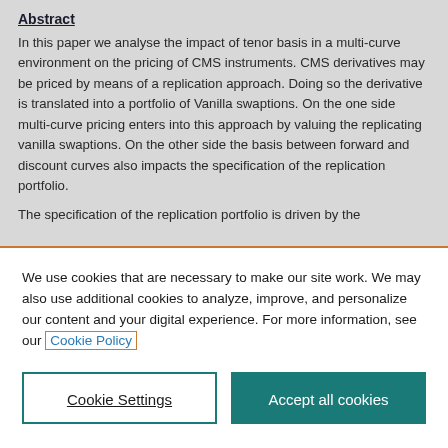Abstract
In this paper we analyse the impact of tenor basis in a multi-curve environment on the pricing of CMS instruments. CMS derivatives may be priced by means of a replication approach. Doing so the derivative is translated into a portfolio of Vanilla swaptions. On the one side multi-curve pricing enters into this approach by valuing the replicating vanilla swaptions. On the other side the basis between forward and discount curves also impacts the specification of the replication portfolio.
The specification of the replication portfolio is driven by the
We use cookies that are necessary to make our site work. We may also use additional cookies to analyze, improve, and personalize our content and your digital experience. For more information, see our Cookie Policy
Cookie Settings
Accept all cookies